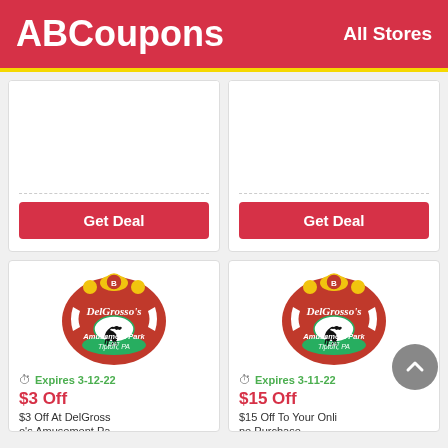ABCoupons   All Stores
[Figure (other): Get Deal button card (top left), partially visible coupon card]
[Figure (other): Get Deal button card (top right), partially visible coupon card]
[Figure (logo): DelGrosso's Amusement Park logo - red shield with horse and ornate decorations, Tipton PA]
Expires 3-12-22
$3 Off
$3 Off At DelGrosso's Amusement Pa
[Figure (logo): DelGrosso's Amusement Park logo - red shield with horse and ornate decorations, Tipton PA]
Expires 3-11-22
$15 Off
$15 Off To Your Online Purchase